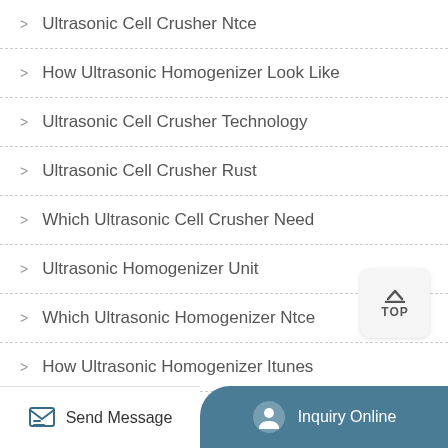Ultrasonic Cell Crusher Ntce
How Ultrasonic Homogenizer Look Like
Ultrasonic Cell Crusher Technology
Ultrasonic Cell Crusher Rust
Which Ultrasonic Cell Crusher Need
Ultrasonic Homogenizer Unit
Which Ultrasonic Homogenizer Ntce
How Ultrasonic Homogenizer Itunes
Send Message | Inquiry Online